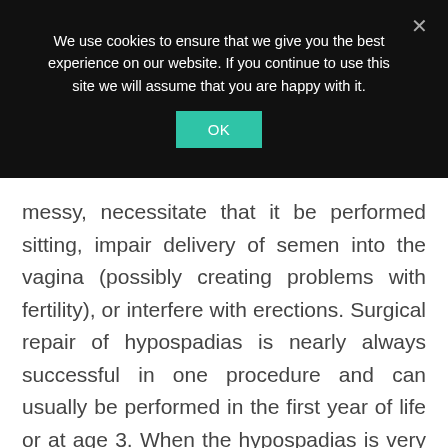We use cookies to ensure that we give you the best experience on our website. If you continue to use this site we will assume that you are happy with it.
messy, necessitate that it be performed sitting, impair delivery of semen into the vagina (possibly creating problems with fertility), or interfere with erections. Surgical repair of hypospadias is nearly always successful in one procedure and can usually be performed in the first year of life or at age 3. When the hypospadias is very proximal, or there are associated birth defects such as chordee, the best